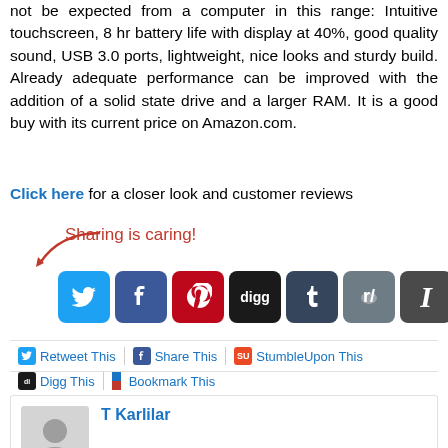not be expected from a computer in this range: Intuitive touchscreen, 8 hr battery life with display at 40%, good quality sound, USB 3.0 ports, lightweight, nice looks and sturdy build. Already adequate performance can be improved with the addition of a solid state drive and a larger RAM. It is a good buy with its current price on Amazon.com.
Click here for a closer look and customer reviews
[Figure (infographic): Sharing is caring! social media sharing buttons with arrow: Twitter, Facebook, Pinterest, Digg, Tumblr, Reddit, Instapaper, and a share icon. Below: Retweet This, Share This, StumbleUpon This, Digg This, Bookmark This links.]
T Karlilar